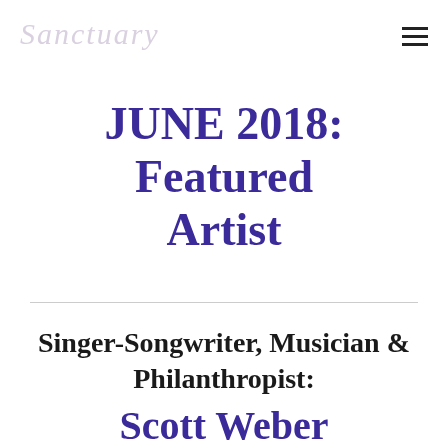Sanctuary
JUNE 2018: Featured Artist
Singer-Songwriter, Musician & Philanthropist: Scott Weber
~~~